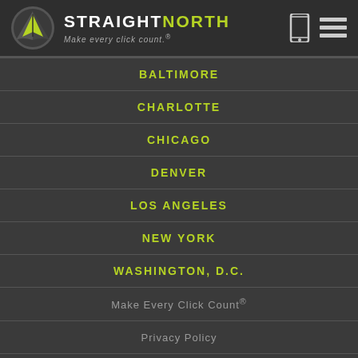STRAIGHT NORTH — Make every click count.®
BALTIMORE
CHARLOTTE
CHICAGO
DENVER
LOS ANGELES
NEW YORK
WASHINGTON, D.C.
Make Every Click Count®
Privacy Policy
Terms of Use
Site Map